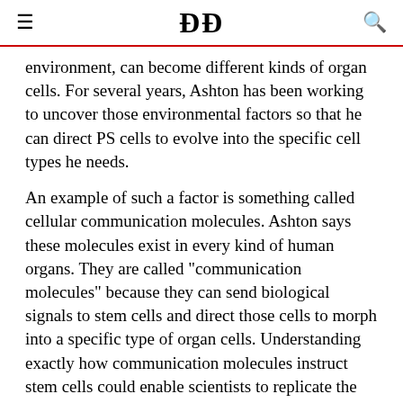DC
environment, can become different kinds of organ cells. For several years, Ashton has been working to uncover those environmental factors so that he can direct PS cells to evolve into the specific cell types he needs.
An example of such a factor is something called cellular communication molecules. Ashton says these molecules exist in every kind of human organs. They are called "communication molecules" because they can send biological signals to stem cells and direct those cells to morph into a specific type of organ cells. Understanding exactly how communication molecules instruct stem cells could enable scientists to replicate the signal and, thus, direct stem cells to develop into the desired organ cells.
But this is just the first step to achieving organ...